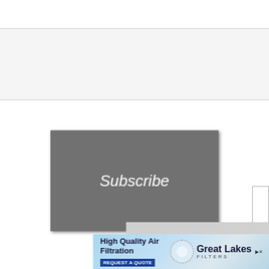[Figure (screenshot): A white/light gray input text box with border]
[Figure (screenshot): A gray Subscribe button with white italic text]
No compatible source was found for this media.
[Figure (infographic): Advertisement banner: High Quality Air Filtration - Great Lakes Filters - REQUEST A QUOTE]